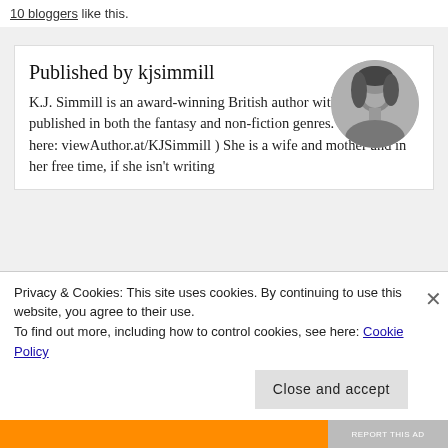10 bloggers like this.
Published by kjsimmill
[Figure (photo): Circular black-and-white portrait photo of K.J. Simmill, a young woman with dark hair looking slightly down]
K.J. Simmill is an award-winning British author with books published in both the fantasy and non-fiction genres. (see books here: viewAuthor.at/KJSimmill ) She is a wife and mother and in her free time, if she isn't writing
Privacy & Cookies: This site uses cookies. By continuing to use this website, you agree to their use.
To find out more, including how to control cookies, see here: Cookie Policy
Close and accept